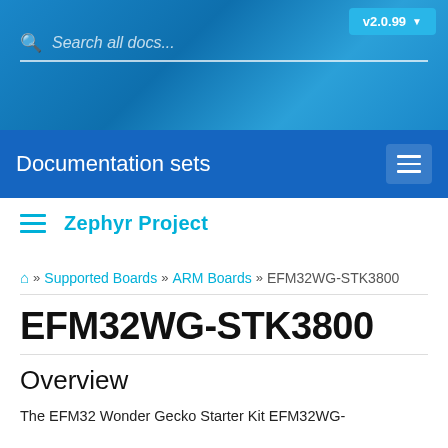Search all docs... v2.0.99
Documentation sets
Zephyr Project
🏠 » Supported Boards » ARM Boards » EFM32WG-STK3800
EFM32WG-STK3800
Overview
The EFM32 Wonder Gecko Starter Kit EFM32WG-